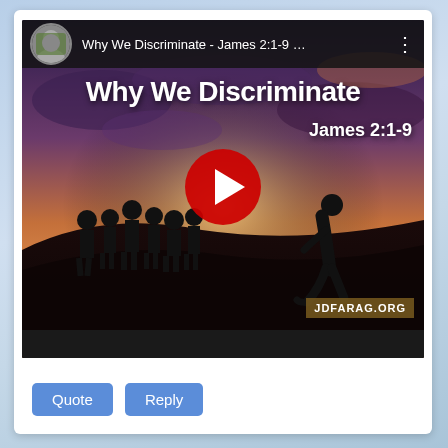[Figure (screenshot): YouTube video thumbnail for 'Why We Discriminate - James 2:1-9' by JD Farag. Shows silhouettes of a group of people and one lone figure against a dramatic sunset sky. Large bold white text reads 'Why We Discriminate' and 'James 2:1-9'. Red YouTube play button in center. JDFARAG.ORG watermark bottom right. Channel avatar and video title bar at top.]
Quote   Reply